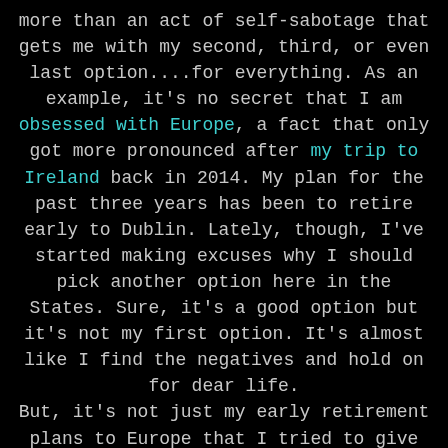more than an act of self-sabotage that gets me with my second, third, or even last option....for everything. As an example, it's no secret that I am obsessed with Europe, a fact that only got more pronounced after my trip to Ireland back in 2014. My plan for the past three years has been to retire early to Dublin. Lately, though, I've started making excuses why I should pick another option here in the States. Sure, it's a good option but it's not my first option. It's almost like I find the negatives and hold on for dear life.
But, it's not just my early retirement plans to Europe that I tried to give up on. I've been on a journey of health for a long time now. During that time I've yo-yo'd and gone through ups and downs. Every time I fall off